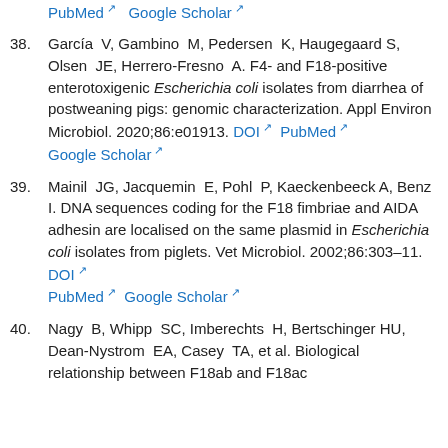PubMed  Google Scholar
38. García V, Gambino M, Pedersen K, Haugegaard S, Olsen JE, Herrero-Fresno A. F4- and F18-positive enterotoxigenic Escherichia coli isolates from diarrhea of postweaning pigs: genomic characterization. Appl Environ Microbiol. 2020;86:e01913. DOI  PubMed  Google Scholar
39. Mainil JG, Jacquemin E, Pohl P, Kaeckenbeeck A, Benz I. DNA sequences coding for the F18 fimbriae and AIDA adhesin are localised on the same plasmid in Escherichia coli isolates from piglets. Vet Microbiol. 2002;86:303–11. DOI  PubMed  Google Scholar
40. Nagy B, Whipp SC, Imberechts H, Bertschinger HU, Dean-Nystrom EA, Casey TA, et al. Biological relationship between F18ab and F18ac